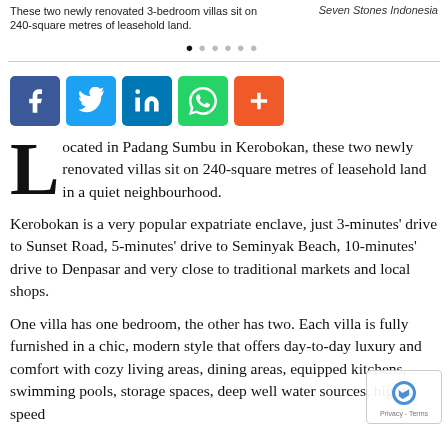These two newly renovated 3-bedroom villas sit on 240-square metres of leasehold land.	Seven Stones Indonesia
[Figure (other): Navigation dots: one filled, five empty]
[Figure (infographic): Social share buttons: Facebook, Twitter, LinkedIn, WhatsApp, More (+)]
Located in Padang Sumbu in Kerobokan, these two newly renovated villas sit on 240-square metres of leasehold land in a quiet neighbourhood.
Kerobokan is a very popular expatriate enclave, just 3-minutes' drive to Sunset Road, 5-minutes' drive to Seminyak Beach, 10-minutes' drive to Denpasar and very close to traditional markets and local shops.
One villa has one bedroom, the other has two. Each villa is fully furnished in a chic, modern style that offers day-to-day luxury and comfort with cozy living areas, dining areas, equipped kitchens, swimming pools, storage spaces, deep well water sources, high-speed